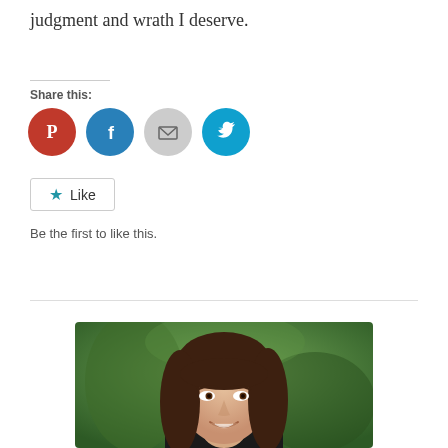judgment and wrath I deserve.
Share this:
[Figure (infographic): Social share buttons: Pinterest (red), Facebook (blue), Email (gray), Twitter (cyan)]
★ Like
Be the first to like this.
[Figure (photo): Portrait photo of a woman with long dark brown hair, smiling, with a blurred green outdoor background.]